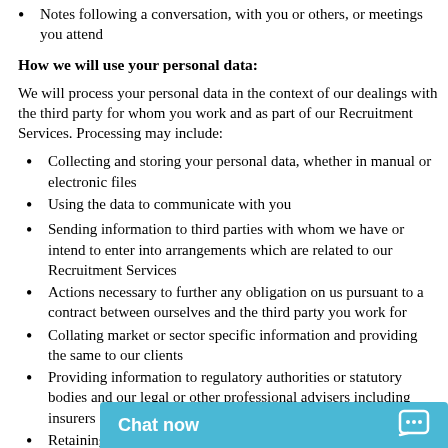Notes following a conversation, with you or others, or meetings you attend
How we will use your personal data:
We will process your personal data in the context of our dealings with the third party for whom you work and as part of our Recruitment Services. Processing may include:
Collecting and storing your personal data, whether in manual or electronic files
Using the data to communicate with you
Sending information to third parties with whom we have or intend to enter into arrangements which are related to our Recruitment Services
Actions necessary to further any obligation on us pursuant to a contract between ourselves and the third party you work for
Collating market or sector specific information and providing the same to our clients
Providing information to regulatory authorities or statutory bodies and our legal or other professional advisers including insurers
Retaining records of organisation whom y